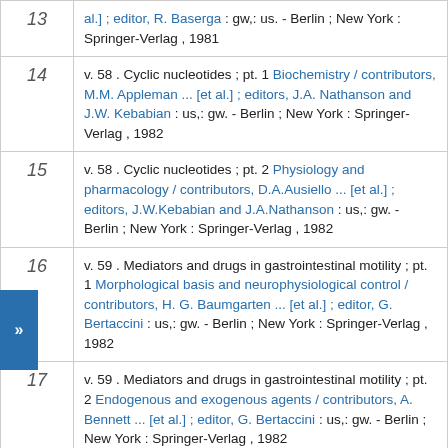| # | Reference |
| --- | --- |
| 13 | al.] ; editor, R. Baserga : gw,: us. - Berlin ; New York : Springer-Verlag , 1981 |
| 14 | v. 58 . Cyclic nucleotides ; pt. 1 Biochemistry / contributors, M.M. Appleman ... [et al.] ; editors, J.A. Nathanson and J.W. Kebabian : us,: gw. - Berlin ; New York : Springer-Verlag , 1982 |
| 15 | v. 58 . Cyclic nucleotides ; pt. 2 Physiology and pharmacology / contributors, D.A.Ausiello ... [et al.] ; editors, J.W.Kebabian and J.A.Nathanson : us,: gw. - Berlin ; New York : Springer-Verlag , 1982 |
| 16 | v. 59 . Mediators and drugs in gastrointestinal motility ; pt. 1 Morphological basis and neurophysiological control / contributors, H. G. Baumgarten ... [et al.] ; editor, G. Bertaccini : us,: gw. - Berlin ; New York : Springer-Verlag , 1982 |
| 17 | v. 59 . Mediators and drugs in gastrointestinal motility ; pt. 2 Endogenous and exogenous agents / contributors, A. Bennett ... [et al.] ; editor, G. Bertaccini : us,: gw. - Berlin ; New York : Springer-Verlag , 1982 |